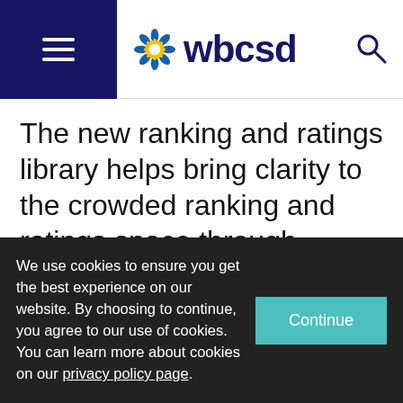wbcsd
The new ranking and ratings library helps bring clarity to the crowded ranking and ratings space through descriptive profiles that allow users to find relevant information quickly and easily
We use cookies to ensure you get the best experience on our website. By choosing to continue, you agree to our use of cookies. You can learn more about cookies on our privacy policy page.